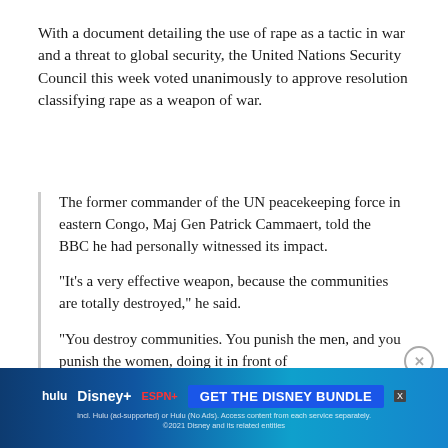With a document detailing the use of rape as a tactic in war and a threat to global security, the United Nations Security Council this week voted unanimously to approve resolution classifying rape as a weapon of war.
The former commander of the UN peacekeeping force in eastern Congo, Maj Gen Patrick Cammaert, told the BBC he had personally witnessed its impact.

"It's a very effective weapon, because the communities are totally destroyed," he said.

"You destroy communities. You punish the men, and you punish the women, doing it in front of
Report an ad
[Figure (other): Advertisement banner for the Disney Bundle featuring Hulu, Disney+, and ESPN+ logos with 'GET THE DISNEY BUNDLE' call-to-action button]